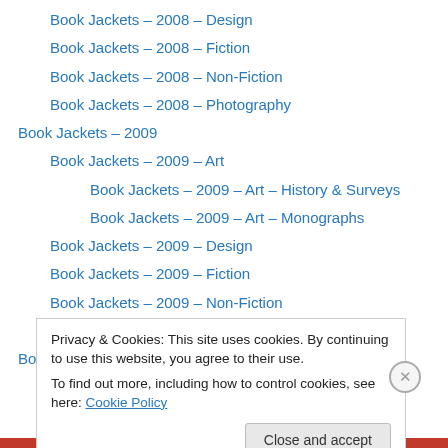Book Jackets – 2008 – Design
Book Jackets – 2008 – Fiction
Book Jackets – 2008 – Non-Fiction
Book Jackets – 2008 – Photography
Book Jackets – 2009
Book Jackets – 2009 – Art
Book Jackets – 2009 – Art – History & Surveys
Book Jackets – 2009 – Art – Monographs
Book Jackets – 2009 – Design
Book Jackets – 2009 – Fiction
Book Jackets – 2009 – Non-Fiction
Book Jackets – 2009 – Photography
Book Jackets – 2010
Privacy & Cookies: This site uses cookies. By continuing to use this website, you agree to their use.
To find out more, including how to control cookies, see here: Cookie Policy